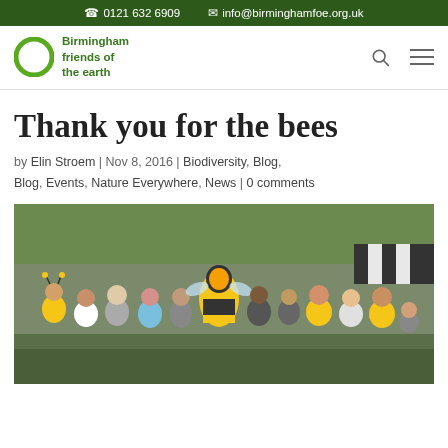☎ 0121 632 6909   ✉ info@birminghamfoe.org.uk
[Figure (logo): Birmingham Friends of the Earth logo — green circle with text 'Birmingham friends of the earth']
Thank you for the bees
by Elin Stroem | Nov 8, 2016 | Biodiversity, Blog, Blog, Events, Nature Everywhere, News | 0 comments
[Figure (photo): Group photo of approximately 12 people outdoors, several wearing yellow bee-themed t-shirts or costumes, one person dressed in a full bee costume in the center-back. Background shows trees and a market stall with striped awning.]